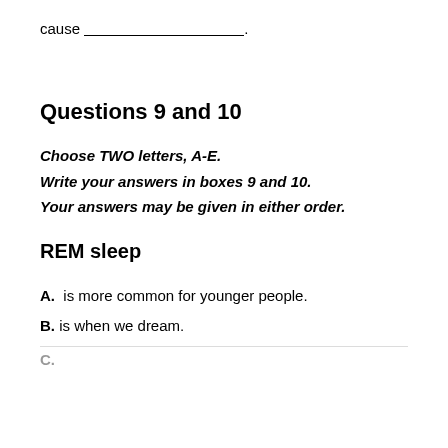cause ___________________________.
Questions 9 and 10
Choose TWO letters, A-E.
Write your answers in boxes 9 and 10.
Your answers may be given in either order.
REM sleep
A.  is more common for younger people.
B. is when we dream.